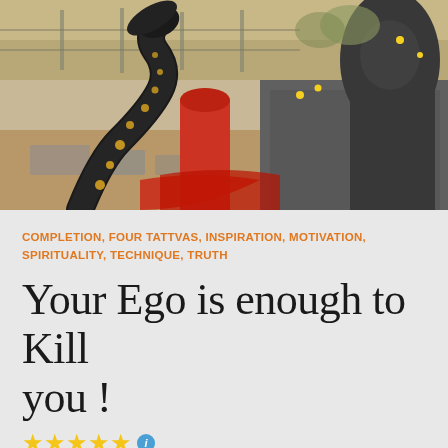[Figure (photo): Outdoor Hindu temple scene with a black serpent/Naga statue with gold spots, a red-painted lingam, stone temple base, and a large dark deity statue. Sandy ground with trees in background.]
COMPLETION, FOUR TATTVAS, INSPIRATION, MOTIVATION, SPIRITUALITY, TECHNIQUE, TRUTH
Your Ego is enough to Kill you !
First of all, understand, the space you have inside you is like an inner organ. Just like your kidney, heart, intestine
[Figure (infographic): 5 gold star rating with a blue info icon circle]